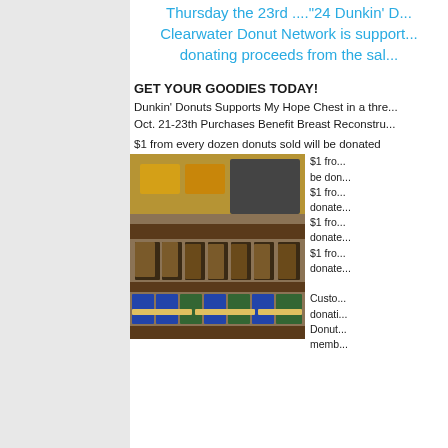Thursday the 23rd ...."24 Dunkin' D... Clearwater Donut Network is support... donating proceeds from the sal...
GET YOUR GOODIES TODAY!
Dunkin' Donuts Supports My Hope Chest in a three...
Oct. 21-23th Purchases Benefit Breast Reconstructio...
$1 from every dozen donuts sold will be donated
[Figure (photo): Interior of a Dunkin' Donuts store showing shelves of packaged coffee products in bags and display racks.]
$1 from... be don... $1 fro... donate... $1 fro... donate... $1 fro... donate... Custo... donati... Donut... memb...